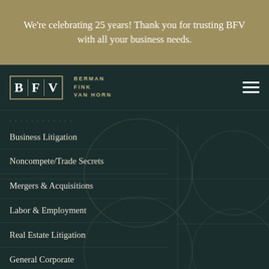We're celebrating 25 years! Thank you for trusting BFV with all your business needs.
[Figure (logo): Berman Fink Van Horn law firm logo with BFV letters in a gold-bordered box and firm name text]
PRACTICE AREAS
Business Litigation
Noncompete/Trade Secrets
Mergers & Acquisitions
Labor & Employment
Real Estate Litigation
General Corporate
Banking Litigation & Creditors' Rights